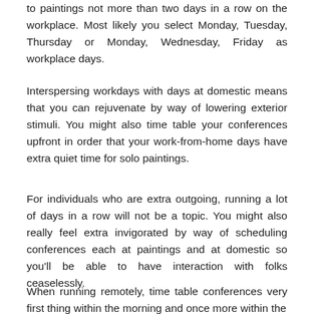to paintings not more than two days in a row on the workplace. Most likely you select Monday, Tuesday, Thursday or Monday, Wednesday, Friday as workplace days.
Interspersing workdays with days at domestic means that you can rejuvenate by way of lowering exterior stimuli. You might also time table your conferences upfront in order that your work-from-home days have extra quiet time for solo paintings.
For individuals who are extra outgoing, running a lot of days in a row will not be a topic. You might also really feel extra invigorated by way of scheduling conferences each at paintings and at domestic so you'll be able to have interaction with folks ceaselessly.
When running remotely, time table conferences very first thing within the morning and once more within the